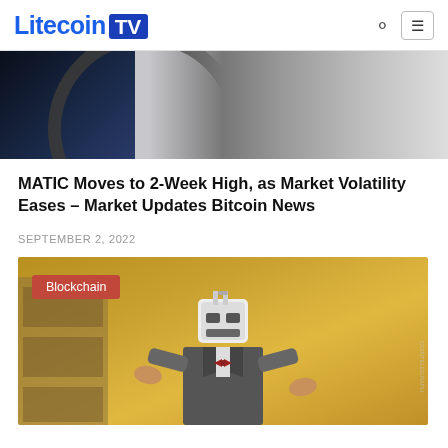Litecoin TV
[Figure (photo): Partial view of a magnifying glass over a dark blue background, top portion of an article hero image]
MATIC Moves to 2-Week High, as Market Volatility Eases – Market Updates Bitcoin News
SEPTEMBER 2, 2022
[Figure (illustration): Illustration of a robot/crypto character with a Bitcoin-style head wearing a suit with bow tie, shrugging. Tagged with 'Blockchain' category label in the top left corner.]